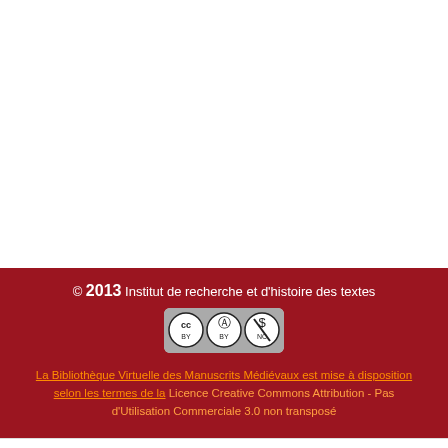[Figure (other): Blank white area representing a manuscript page viewer content area]
© 2013 Institut de recherche et d'histoire des textes
[Figure (logo): Creative Commons BY-NC license badge]
La Bibliothèque Virtuelle des Manuscrits Médiévaux est mise à disposition selon les termes de la Licence Creative Commons Attribution - Pas d'Utilisation Commerciale 3.0 non transposé
90↺ ↻90  |◀ ◀ 40/43 ▶ ▶|  🔍 ■ ▐▐ 🔍